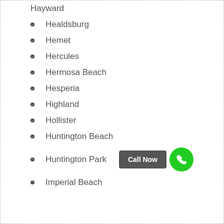Hayward
Healdsburg
Hemet
Hercules
Hermosa Beach
Hesperia
Highland
Hollister
Huntington Beach
Huntington Park
Imperial Beach